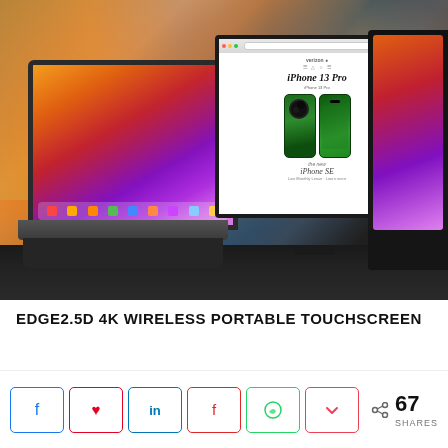[Figure (photo): Photo of a MacBook laptop on the left showing macOS Big Sur wallpaper, and a portable touchscreen monitor in the center displaying an Apple website with iPhone 13 Pro product page (green iPhone 13 Pro models shown), both placed on a dark table surface in what appears to be a retail environment with blurred background.]
EDGE2.5D 4K WIRELESS PORTABLE TOUCHSCREEN
Social share buttons: Facebook, Pinterest, LinkedIn, Flipboard, WhatsApp, Pocket. Share count: 67 SHARES